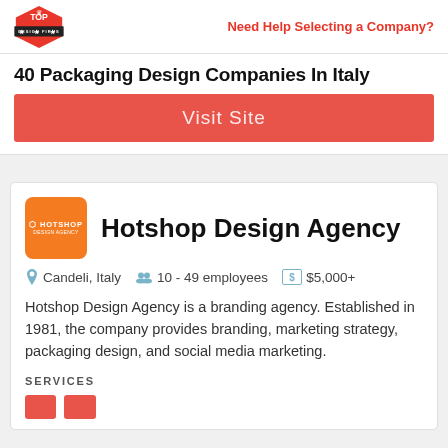Top Design Firms | Need Help Selecting a Company?
40 Packaging Design Companies In Italy
Visit Site
Hotshop Design Agency
Candeli, Italy   10 - 49 employees   $5,000+
Hotshop Design Agency is a branding agency. Established in 1981, the company provides branding, marketing strategy, packaging design, and social media marketing.
SERVICES